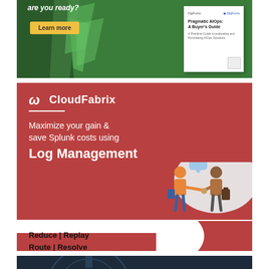[Figure (illustration): Green background advertisement banner with 'are you ready?' text, Learn more button, and a document mockup showing 'Pragmatic AIOps: A Buyer's Guide']
[Figure (illustration): CloudFabrix advertisement banner on red background. Logo at top, tagline 'Maximize your gain & save Splunk costs using Log Management', and 'Reduce | Replay Route | Resolve' text with a handshake illustration.]
[Figure (illustration): Dark blue advertisement banner with blurred gear/brain background, text 'START YOUR FREE TRIAL TODAY' and a robot figure at bottom.]